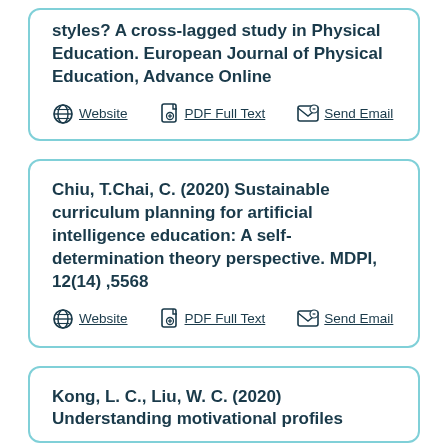styles? A cross-lagged study in Physical Education. European Journal of Physical Education, Advance Online
Website | PDF Full Text | Send Email
Chiu, T.Chai, C. (2020) Sustainable curriculum planning for artificial intelligence education: A self-determination theory perspective. MDPI, 12(14) ,5568
Website | PDF Full Text | Send Email
Kong, L. C., Liu, W. C. (2020) Understanding motivational profiles